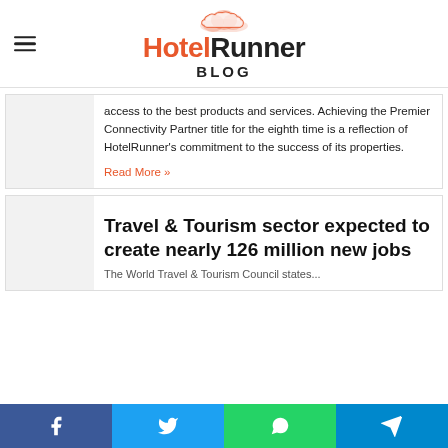HotelRunner BLOG
access to the best products and services. Achieving the Premier Connectivity Partner title for the eighth time is a reflection of HotelRunner's commitment to the success of its properties.
Read More »
Travel & Tourism sector expected to create nearly 126 million new jobs
The World Travel & Tourism Council states...
Facebook Twitter WhatsApp Telegram